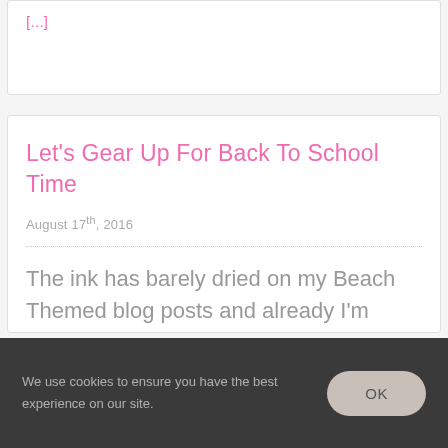[...]
Let's Gear Up For Back To School Time
August 17th, 2016
The ink has barely dried on my Beach Themed blog posts and already I'm realizing
We use cookies to ensure you have the best experience on our site.